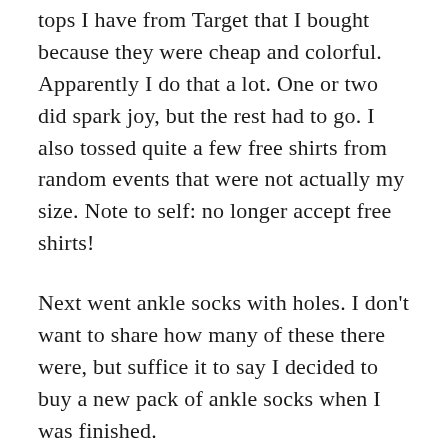tops I have from Target that I bought because they were cheap and colorful. Apparently I do that a lot. One or two did spark joy, but the rest had to go. I also tossed quite a few free shirts from random events that were not actually my size. Note to self: no longer accept free shirts!
Next went ankle socks with holes. I don't want to share how many of these there were, but suffice it to say I decided to buy a new pack of ankle socks when I was finished.
After that, I wanted to figure out